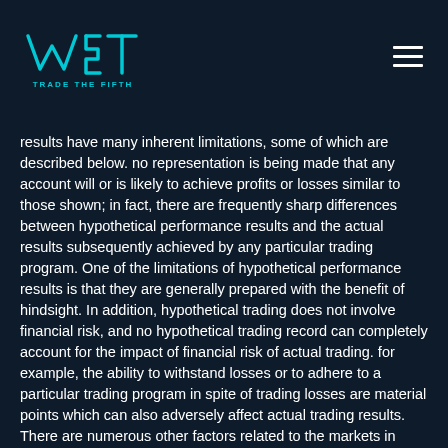WST Trade The Fifth
results have many inherent limitations, some of which are described below. no representation is being made that any account will or is likely to achieve profits or losses similar to those shown; in fact, there are frequently sharp differences between hypothetical performance results and the actual results subsequently achieved by any particular trading program. One of the limitations of hypothetical performance results is that they are generally prepared with the benefit of hindsight. In addition, hypothetical trading does not involve financial risk, and no hypothetical trading record can completely account for the impact of financial risk of actual trading. for example, the ability to withstand losses or to adhere to a particular trading program in spite of trading losses are material points which can also adversely affect actual trading results. There are numerous other factors related to the markets in general or to the implementation of any specific trading program which cannot be fully accounted for in the preparation of hypothetical performance results and all which can adversely affect trading results. Past performance is not necessarily indicative of future results.